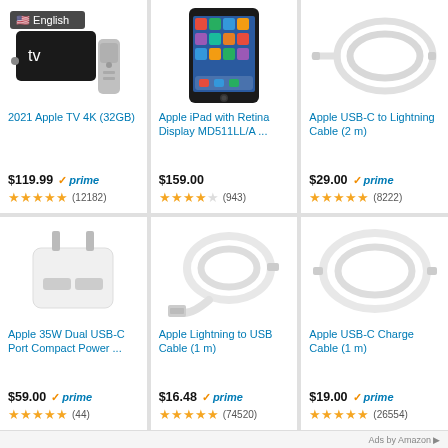[Figure (screenshot): Amazon product grid showing 6 Apple products with prices, prime badges, star ratings, and review counts]
2021 Apple TV 4K (32GB) $119.99 prime (12182)
Apple iPad with Retina Display MD511LL/A ... $159.00 (943)
Apple USB-C to Lightning Cable (2 m) $29.00 prime (8222)
Apple 35W Dual USB-C Port Compact Power ... $59.00 prime (44)
Apple Lightning to USB Cable (1 m) $16.48 prime (74520)
Apple USB-C Charge Cable (1 m) $19.00 prime (26554)
Ads by Amazon